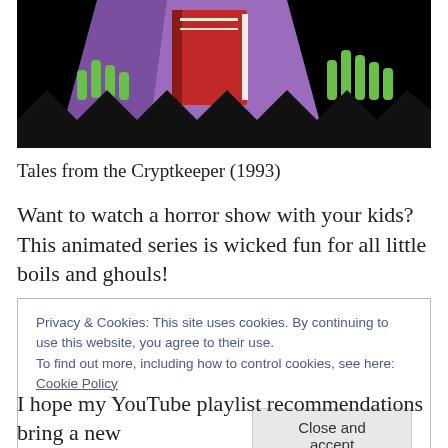[Figure (illustration): Comic book style illustration showing a purple-cloaked figure holding a red book, with green skeleton hands visible, against a black background — artwork from Tales from the Cryptkeeper (1993)]
Tales from the Cryptkeeper (1993)
Want to watch a horror show with your kids? This animated series is wicked fun for all little boils and ghouls!
Privacy & Cookies: This site uses cookies. By continuing to use this website, you agree to their use.
To find out more, including how to control cookies, see here: Cookie Policy
I hope my YouTube playlist recommendations bring a new